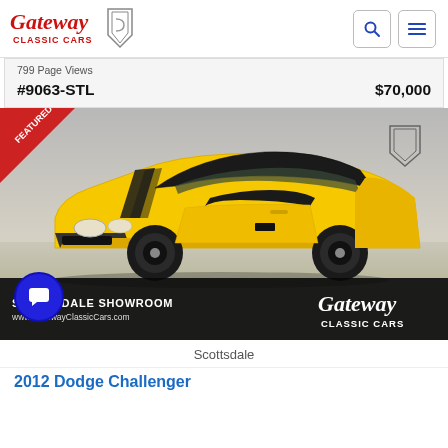Gateway Classic Cars
799 Page Views
#9063-STL   $70,000
[Figure (photo): Yellow 2012 Dodge Challenger SRT muscle car parked, with FEATURED banner in top left corner and Gateway Classic Cars Scottsdale Showroom branding overlay at bottom.]
Scottsdale
2012 Dodge Challenger